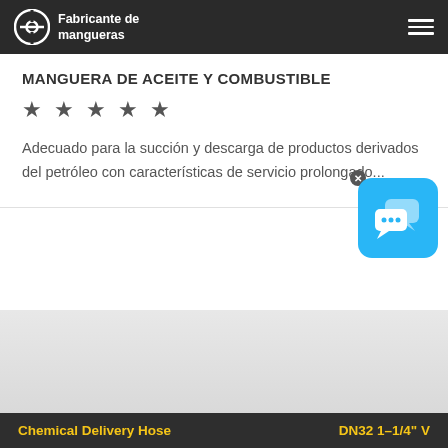Fabricante de mangueras
MANGUERA DE ACEITE Y COMBUSTIBLE
★★★★★
Adecuado para la succión y descarga de productos derivados del petróleo con características de servicio prolongado...
[Figure (screenshot): Chat widget icon with blue background showing speech bubbles, with an X close button]
[Figure (photo): Product image area with dark banner at the bottom showing 'Chemical Delivery Hose' in yellow text on the left and 'DN32 1-1/4"' in yellow text on the right]